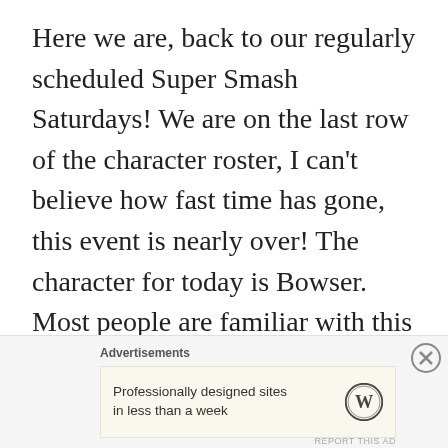Here we are, back to our regularly scheduled Super Smash Saturdays! We are on the last row of the character roster, I can't believe how fast time has gone, this event is nearly over! The character for today is Bowser. Most people are familiar with this character, the antagonist in the Mario games. Even though …
Advertisements
Professionally designed sites in less than a week